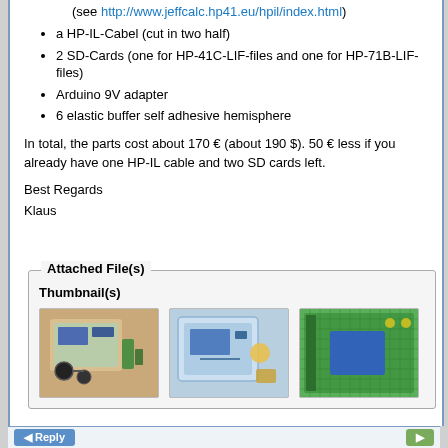(see http://www.jeffcalc.hp41.eu/hpil/index.html)
a HP-IL-Cabel (cut in two half)
2 SD-Cards (one for HP-41C-LIF-files and one for HP-71B-LIF-files)
Arduino 9V adapter
6 elastic buffer self adhesive hemisphere
In total, the parts cost about 170 € (about 190 $). 50 € less if you already have one HP-IL cable and two SD cards left.
Best Regards
Klaus
Attached File(s)
Thumbnail(s)
[Figure (photo): Three thumbnail photos of an electronics project build — left: circuit board in acrylic case with cables; middle: circuit board in transparent case; right: green circuit board with blue component.]